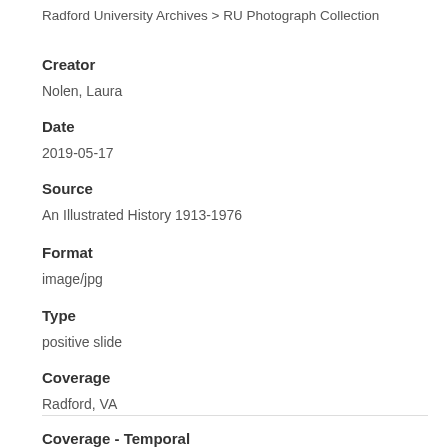Radford University Archives > RU Photograph Collection
Creator
Nolen, Laura
Date
2019-05-17
Source
An Illustrated History 1913-1976
Format
image/jpg
Type
positive slide
Coverage
Radford, VA
Coverage - Temporal
1913-1976